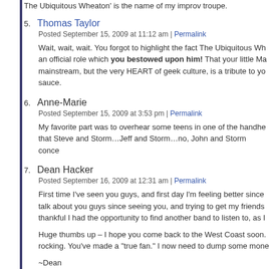The Ubiquitous Wheaton' is the name of my improv troupe.
5. Thomas Taylor
Posted September 15, 2009 at 11:12 am | Permalink
Wait, wait, wait. You forgot to highlight the fact The Ubiquitous Wh... an official role which you bestowed upon him! That your little Ma... mainstream, but the very HEART of geek culture, is a tribute to yo... sauce.
6. Anne-Marie
Posted September 15, 2009 at 3:53 pm | Permalink
My favorite part was to overhear some teens in one of the handhe... that Steve and Storm...Jeff and Storm...no, John and Storm conce...
7. Dean Hacker
Posted September 16, 2009 at 12:31 am | Permalink
First time I've seen you guys, and first day I'm feeling better since... talk about you guys since seeing you, and trying to get my friends... thankful I had the opportunity to find another band to listen to, as I...
Huge thumbs up – I hope you come back to the West Coast soon... rocking. You've made a "true fan." I now need to dump some mone...
~Dean